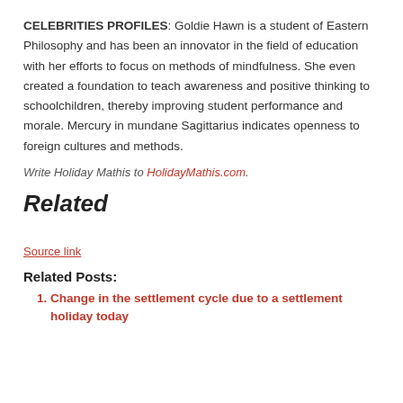CELEBRITIES PROFILES: Goldie Hawn is a student of Eastern Philosophy and has been an innovator in the field of education with her efforts to focus on methods of mindfulness. She even created a foundation to teach awareness and positive thinking to schoolchildren, thereby improving student performance and morale. Mercury in mundane Sagittarius indicates openness to foreign cultures and methods.
Write Holiday Mathis to HolidayMathis.com.
Related
Source link
Related Posts:
Change in the settlement cycle due to a settlement holiday today